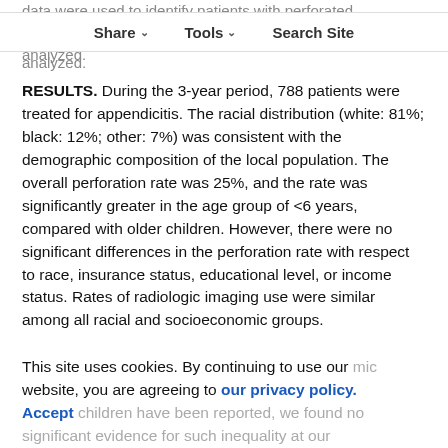Share  Tools  Search Site
data were used to identify patients with perforated appendicitis. The use of radiologic imaging was also analyzed.
RESULTS. During the 3-year period, 788 patients were treated for appendicitis. The racial distribution (white: 81%; black: 12%; other: 7%) was consistent with the demographic composition of the local population. The overall perforation rate was 25%, and the rate was significantly greater in the age group of <6 years, compared with older children. However, there were no significant differences in the perforation rate with respect to race, insurance status, educational level, or income status. Rates of radiologic imaging use were similar among all racial and socioeconomic groups.
This site uses cookies. By continuing to use our website, you are agreeing to our privacy policy. Accept children have been reported, we found no significant evidence for such inequality at our